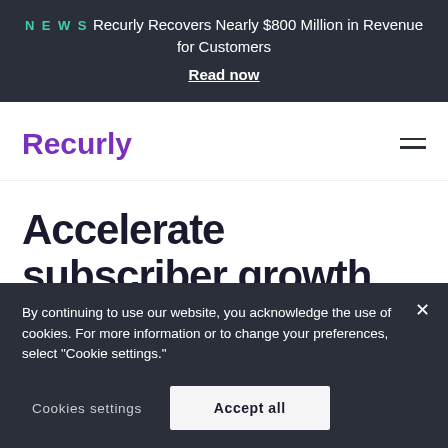NEWS  Recurly Recovers Nearly $800 Million in Revenue for Customers
Read now
[Figure (logo): Recurly logo in purple text]
Accelerate subscriber growth with Recurly
By continuing to use our website, you acknowledge the use of cookies. For more information or to change your preferences, select "Cookie settings."
Cookies settings    Accept all